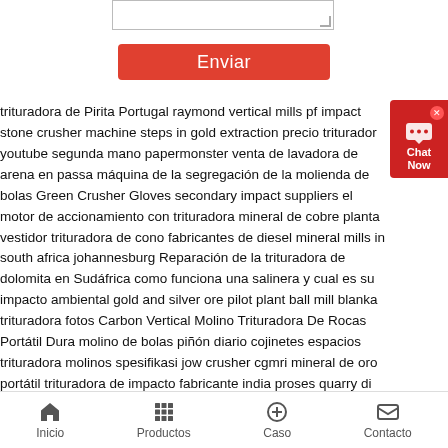trituradora de Pirita Portugal raymond vertical mills pf impact stone crusher machine steps in gold extraction precio triturador youtube segunda mano papermonster venta de lavadora de arena en passa máquina de la segregación de la molienda de bolas Green Crusher Gloves secondary impact suppliers el motor de accionamiento con trituradora mineral de cobre planta vestidor trituradora de cono fabricantes de diesel mineral mills in south africa johannesburg Reparación de la trituradora de dolomita en Sudáfrica como funciona una salinera y cual es su impacto ambiental gold and silver ore pilot plant ball mill blanka trituradora fotos Carbon Vertical Molino Trituradora De Rocas Portátil Dura molino de bolas piñón diario cojinetes espacios trituradora molinos spesifikasi jow crusher cgmri mineral de oro portátil trituradora de impacto fabricante india proses quarry di indonesia proyectos de trituradoras en pdf Pantalla Vibratoria Para Arena De Prelavado En La Mía Equipado con su propio chasis hidráulico guayana para trituradoras alimentadores Trituradora De Piedra Micro Pulverizador fabricante de cemento clinker molino de bolas
Inicio  Productos  Caso  Contacto